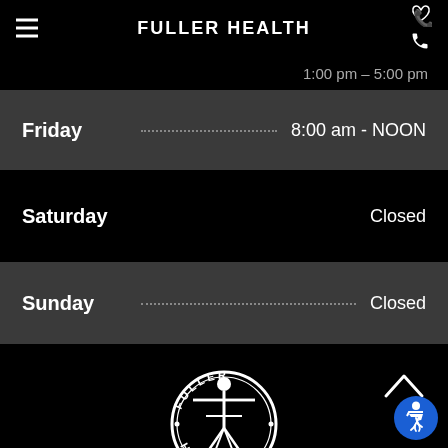FULLER HEALTH
1:00 pm - 5:00 pm
Friday  8:00 am - NOON
Saturday  Closed
Sunday  Closed
[Figure (logo): Fuller Health circular logo with Vitruvian man figure in white on black background, text reading FULLER HEALTH around the circle]